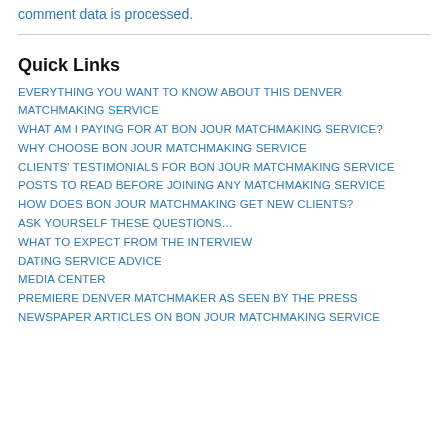comment data is processed.
Quick Links
EVERYTHING YOU WANT TO KNOW ABOUT THIS DENVER MATCHMAKING SERVICE
WHAT AM I PAYING FOR AT BON JOUR MATCHMAKING SERVICE?
WHY CHOOSE BON JOUR MATCHMAKING SERVICE
CLIENTS' TESTIMONIALS FOR BON JOUR MATCHMAKING SERVICE
POSTS TO READ BEFORE JOINING ANY MATCHMAKING SERVICE
HOW DOES BON JOUR MATCHMAKING GET NEW CLIENTS?
ASK YOURSELF THESE QUESTIONS…
WHAT TO EXPECT FROM THE INTERVIEW
DATING SERVICE ADVICE
MEDIA CENTER
PREMIERE DENVER MATCHMAKER AS SEEN BY THE PRESS
NEWSPAPER ARTICLES ON BON JOUR MATCHMAKING SERVICE